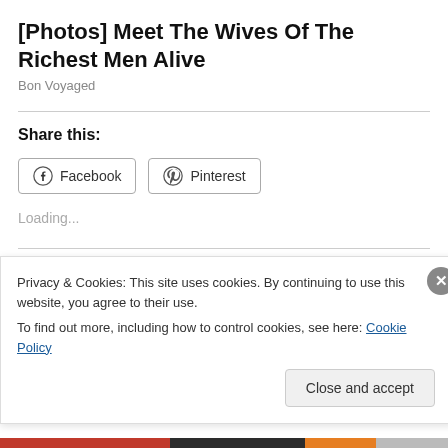[Photos] Meet The Wives Of The Richest Men Alive
Bon Voyaged
Share this:
Loading...
Related
Privacy & Cookies: This site uses cookies. By continuing to use this website, you agree to their use.
To find out more, including how to control cookies, see here: Cookie Policy
Close and accept